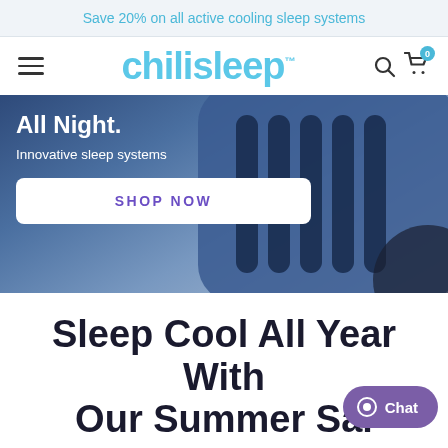Save 20% on all active cooling sleep systems
[Figure (screenshot): Chilisleep logo and navigation bar with hamburger menu, search icon, and cart with badge showing 0]
[Figure (photo): Hero banner with blue cooling device showing ventilation grille slats, with text overlay 'All Night. Innovative sleep systems' and a SHOP NOW button]
Sleep Cool All Year With Our Summer Sa...